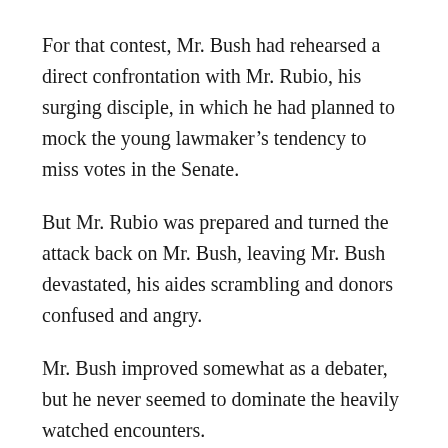For that contest, Mr. Bush had rehearsed a direct confrontation with Mr. Rubio, his surging disciple, in which he had planned to mock the young lawmaker’s tendency to miss votes in the Senate.
But Mr. Rubio was prepared and turned the attack back on Mr. Bush, leaving Mr. Bush devastated, his aides scrambling and donors confused and angry.
Mr. Bush improved somewhat as a debater, but he never seemed to dominate the heavily watched encounters.